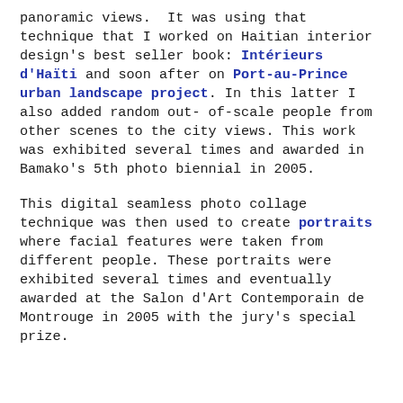panoramic views.  It was using that technique that I worked on Haitian interior design's best seller book: Intérieurs d'Haïti and soon after on Port-au-Prince urban landscape project. In this latter I also added random out-of-scale people from other scenes to the city views. This work was exhibited several times and awarded in Bamako's 5th photo biennial in 2005.
This digital seamless photo collage technique was then used to create portraits where facial features were taken from different people. These portraits were exhibited several times and eventually awarded at the Salon d'Art Contemporain de Montrouge in 2005 with the jury's special prize.